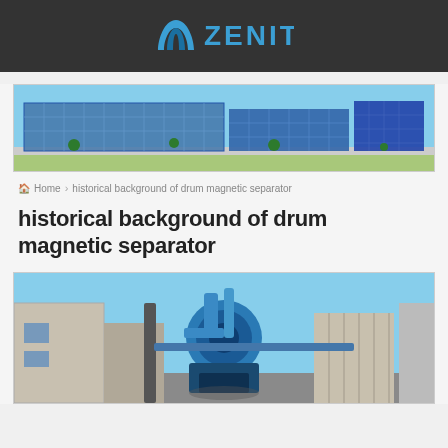ZENIT
[Figure (photo): Panoramic view of a modern industrial/commercial building complex with glass facades and trees in the foreground]
Home > historical background of drum magnetic separator
historical background of drum magnetic separator
[Figure (photo): Industrial facility with blue drum magnetic separator equipment, pipes, and dust collection systems outdoors under a blue sky]